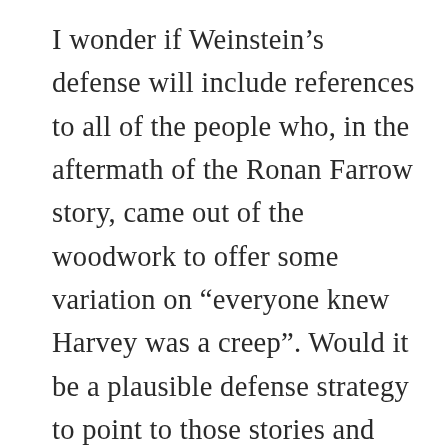I wonder if Weinstein's defense will include references to all of the people who, in the aftermath of the Ronan Farrow story, came out of the woodwork to offer some variation on “everyone knew Harvey was a creep”. Would it be a plausible defense strategy to point to those stories and say, “See, everyone knew what the score was with my